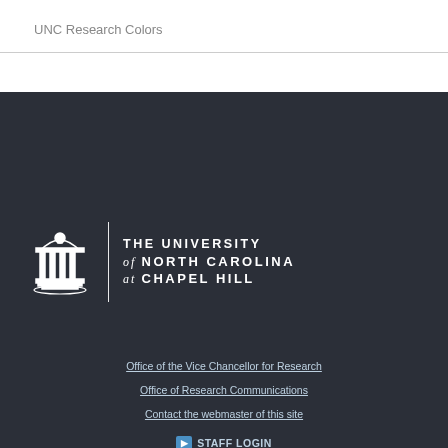UNC Research Colors
[Figure (logo): The University of North Carolina at Chapel Hill logo with Old Well building icon and university name text in white on dark background]
Office of the Vice Chancellor for Research
Office of Research Communications
Contact the webmaster of this site
STAFF LOGIN
FOLLOW US